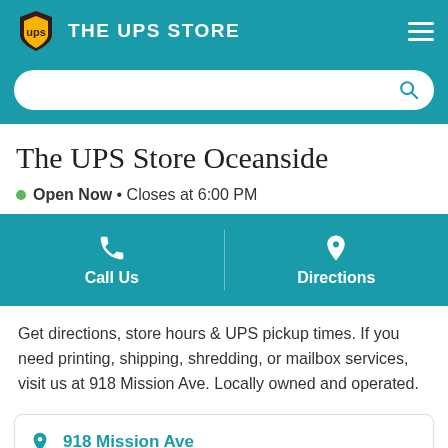THE UPS STORE
The UPS Store Oceanside
Open Now • Closes at 6:00 PM
Call Us
Directions
Get directions, store hours & UPS pickup times. If you need printing, shipping, shredding, or mailbox services, visit us at 918 Mission Ave. Locally owned and operated.
918 Mission Ave
Oceanside, CA 92054